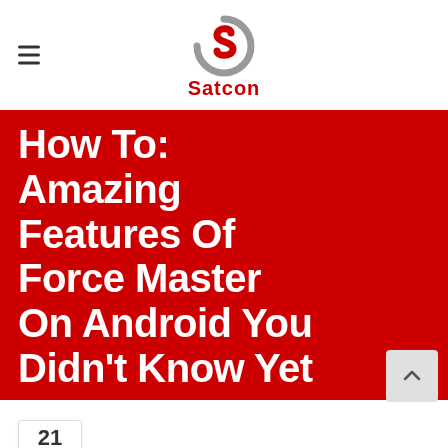Satcon
How To: Amazing Features Of Force Master On Android You Didn't Know Yet
21 Apr